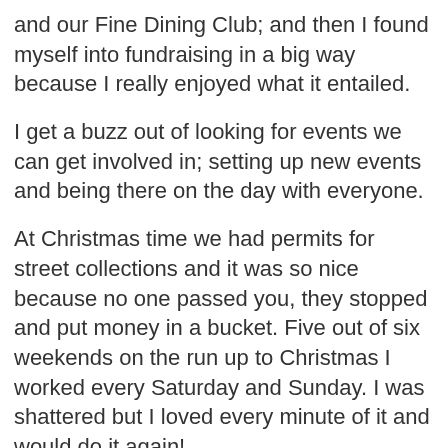and our Fine Dining Club; and then I found myself into fundraising in a big way because I really enjoyed what it entailed.
I get a buzz out of looking for events we can get involved in; setting up new events and being there on the day with everyone.
At Christmas time we had permits for street collections and it was so nice because no one passed you, they stopped and put money in a bucket. Five out of six weekends on the run up to Christmas I worked every Saturday and Sunday. I was shattered but I loved every minute of it and would do it again!